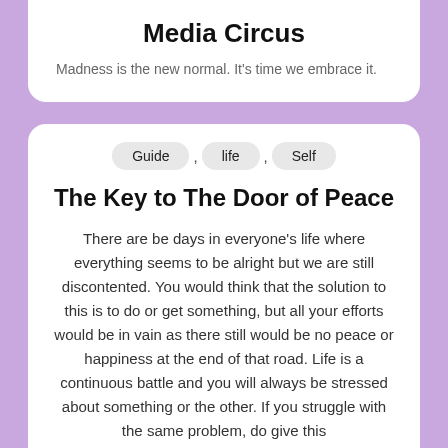Media Circus
Madness is the new normal. It’s time we embrace it.
Guide
life
Self
The Key to The Door of Peace
There are be days in everyone’s life where everything seems to be alright but we are still discontented. You would think that the solution to this is to do or get something, but all your efforts would be in vain as there still would be no peace or happiness at the end of that road. Life is a continuous battle and you will always be stressed about something or the other. If you struggle with the same problem, do give this